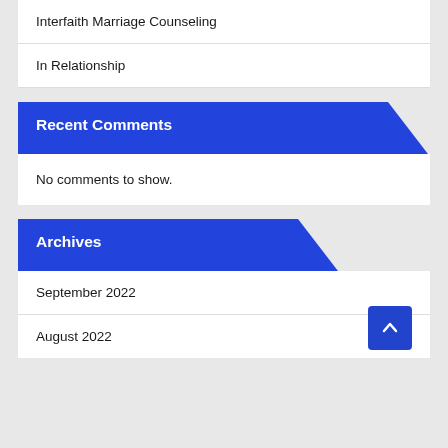Interfaith Marriage Counseling
In Relationship
Recent Comments
No comments to show.
Archives
September 2022
August 2022